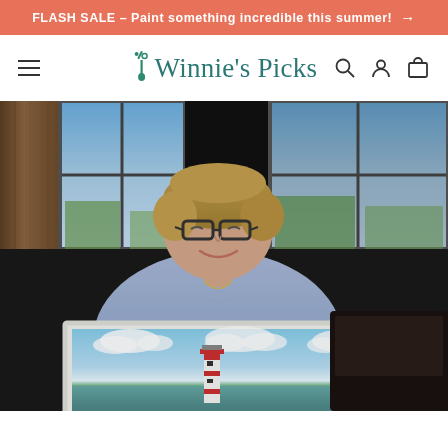FLASH SALE – Paint something incredible this summer! →
[Figure (logo): Winnie's Picks logo with paintbrush icon and teal text, navigation bar with hamburger menu, search, account, and cart icons]
[Figure (photo): A smiling woman with short blonde hair wearing glasses and a blue top, holding a framed painting of a lighthouse with blue sky and clouds, standing in a dark interior room with windows behind her]